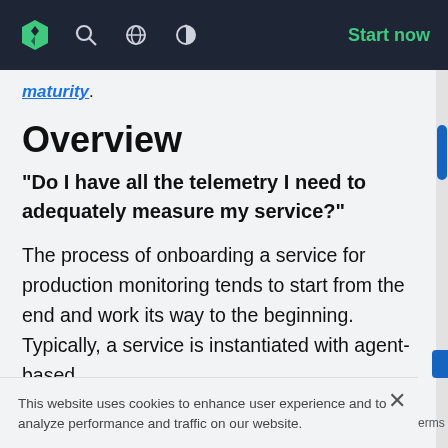Start now
maturity.
Overview
"Do I have all the telemetry I need to adequately measure my service?"
The process of onboarding a service for production monitoring tends to start from the end and work its way to the beginning. Typically, a service is instantiated with agent-based
This website uses cookies to enhance user experience and to analyze performance and traffic on our website.